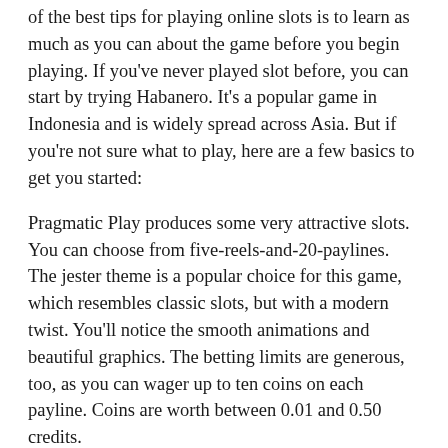of the best tips for playing online slots is to learn as much as you can about the game before you begin playing. If you've never played slot before, you can start by trying Habanero. It's a popular game in Indonesia and is widely spread across Asia. But if you're not sure what to play, here are a few basics to get you started:
Pragmatic Play produces some very attractive slots. You can choose from five-reels-and-20-paylines. The jester theme is a popular choice for this game, which resembles classic slots, but with a modern twist. You'll notice the smooth animations and beautiful graphics. The betting limits are generous, too, as you can wager up to ten coins on each payline. Coins are worth between 0.01 and 0.50 credits.
Pragmatic Play has also released a new online slot title in 2018 called Magician's Secrets. This high-volatility game comes with a huge variety of ways to win. The top win in this slot is 5,000x your stake. The slot is also compatible with all types of devices.